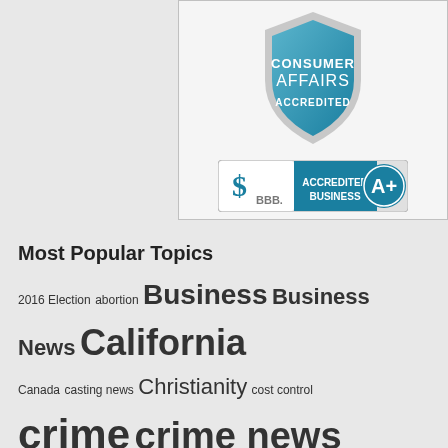[Figure (logo): Consumer Affairs Accredited shield badge and BBB Accredited Business A+ badge]
Most Popular Topics
2016 Election abortion Business Business News California Canada casting news Christianity cost control crime crime news Criminal criminal charges Donald Trump England FBI FBI investigation Florida found dead Georgia Health News Illinois Islamic extremists